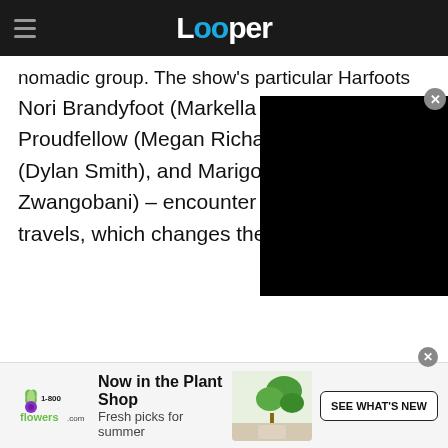Looper
nomadic group. The show's particular Harfoots – Nori Brandyfoot (Markella K... Proudfellow (Megan Richard... (Dylan Smith), and Marigold... Zwangobani) – encounter th... travels, which changes their lives forever.
[Figure (screenshot): Black video player overlay covering right portion of text]
[Figure (infographic): 1-800-Flowers advertisement banner: 'Now in the Plant Shop / Fresh picks for summer' with SEE WHAT'S NEW button and plant photo]